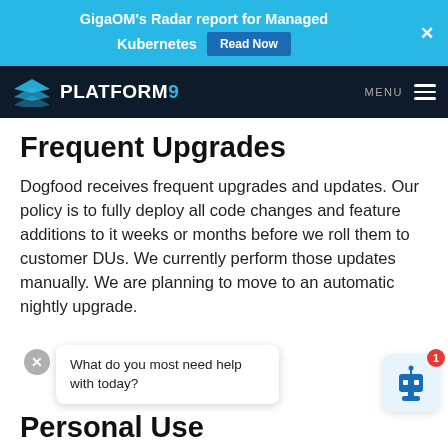GigaOM's Radar report for Managed Kubernetes  Read Now
[Figure (logo): Platform9 logo with layered diamond icon and PLATFORM9 text in white on dark navy background]
Frequent Upgrades
Dogfood receives frequent upgrades and updates. Our policy is to fully deploy all code changes and feature additions to it weeks or months before we roll them to customer DUs. We currently perform those updates manually. We are planning to move to an automatic nightly upgrade.
[Figure (screenshot): Chat widget with close button and bubble asking: What do you most need help with today?]
Personal Use